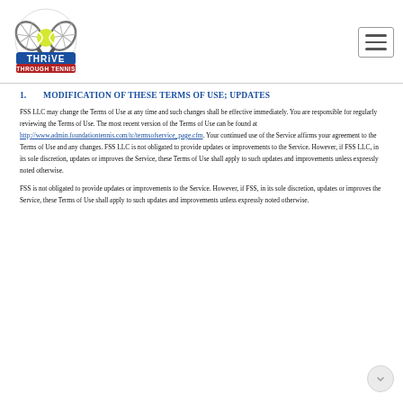[Figure (logo): Thrive Through Tennis logo with two crossed tennis rackets and a yellow tennis ball, with blue banner reading THRIVE and red banner reading THROUGH TENNIS]
1. MODIFICATION OF THESE TERMS OF USE; UPDATES
FSS LLC may change the Terms of Use at any time and such changes shall be effective immediately. You are responsible for regularly reviewing the Terms of Use. The most recent version of the Terms of Use can be found at http://www.admin.foundationtennis.com/tc/termsofservice_page.cfm. Your continued use of the Service affirms your agreement to the Terms of Use and any changes. FSS LLC is not obligated to provide updates or improvements to the Service. However, if FSS LLC, in its sole discretion, updates or improves the Service, these Terms of Use shall apply to such updates and improvements unless expressly noted otherwise.
FSS is not obligated to provide updates or improvements to the Service. However, if FSS, in its sole discretion, updates or improves the Service, these Terms of Use shall apply to such updates and improvements unless expressly noted otherwise.